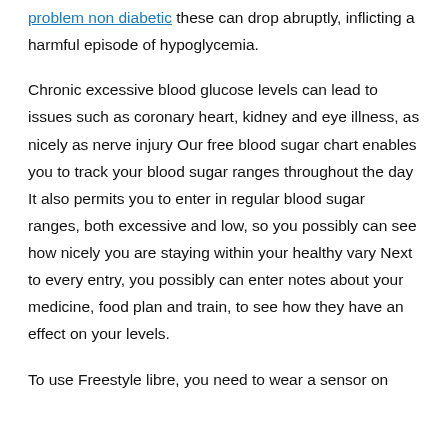problem non diabetic these can drop abruptly, inflicting a harmful episode of hypoglycemia.
Chronic excessive blood glucose levels can lead to issues such as coronary heart, kidney and eye illness, as nicely as nerve injury Our free blood sugar chart enables you to track your blood sugar ranges throughout the day It also permits you to enter in regular blood sugar ranges, both excessive and low, so you possibly can see how nicely you are staying within your healthy vary Next to every entry, you possibly can enter notes about your medicine, food plan and train, to see how they have an effect on your levels.
To use Freestyle libre, you need to wear a sensor on